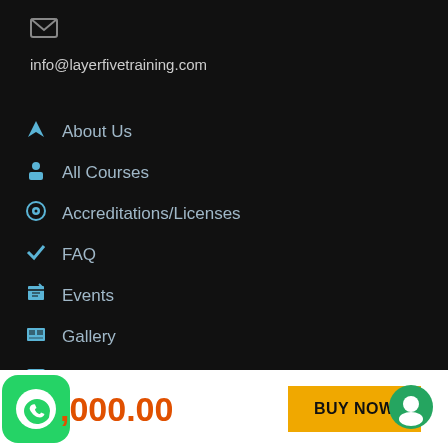[Figure (logo): Envelope/email icon (grey)]
info@layerfivetraining.com
About Us
All Courses
Accreditations/Licenses
FAQ
Events
Gallery
Contacts
Register
[Figure (logo): WhatsApp green icon]
,000.00
BUY NOW
[Figure (logo): Green chat/message circle icon]